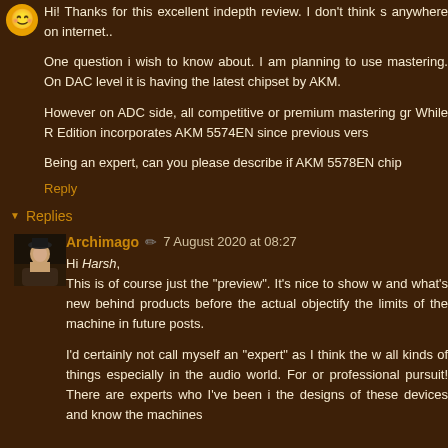Hi! Thanks for this excellent indepth review. I don't think s anywhere on internet..
One question i wish to know about. I am planning to use mastering. On DAC level it is having the latest chipset by AKM.
However on ADC side, all competitive or premium mastering gr While R Edition incorporates AKM 5574EN since previous vers
Being an expert, can you please describe if AKM 5578EN chip
Reply
Replies
Archimago  7 August 2020 at 08:27
Hi Harsh,
This is of course just the "preview". It's nice to show w and what's new behind products before the actual objectify the limits of the machine in future posts.

I'd certainly not call myself an "expert" as I think the w all kinds of things especially in the audio world. For or professional pursuit! There are experts who I've been the designs of these devices and know the machines